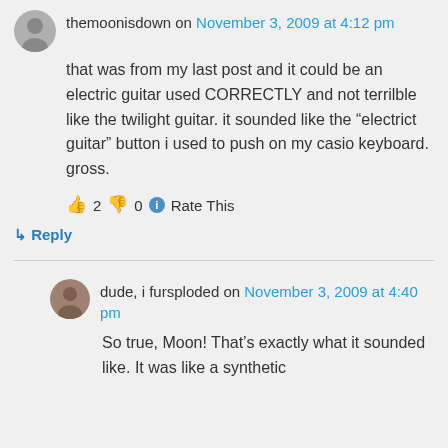themoonisdown on November 3, 2009 at 4:12 pm
that was from my last post and it could be an electric guitar used CORRECTLY and not terrilble like the twilight guitar. it sounded like the “electrict guitar” button i used to push on my casio keyboard. gross.
👍 2 👎 0 ⓘ Rate This
↳ Reply
dude, i fursploded on November 3, 2009 at 4:40 pm
So true, Moon! That’s exactly what it sounded like. It was like a synthetic